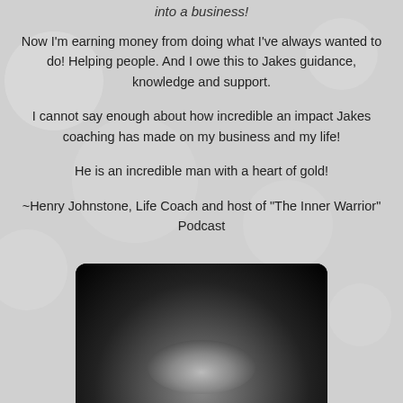into a business!
Now I'm earning money from doing what I've always wanted to do! Helping people. And I owe this to Jakes guidance, knowledge and support.
I cannot say enough about how incredible an impact Jakes coaching has made on my business and my life!
He is an incredible man with a heart of gold!
~Henry Johnstone, Life Coach and host of "The Inner Warrior" Podcast
[Figure (photo): Black and white portrait photo of a person, showing the top of the head with light-colored hair against a dark/black background, cropped at the bottom of the page.]